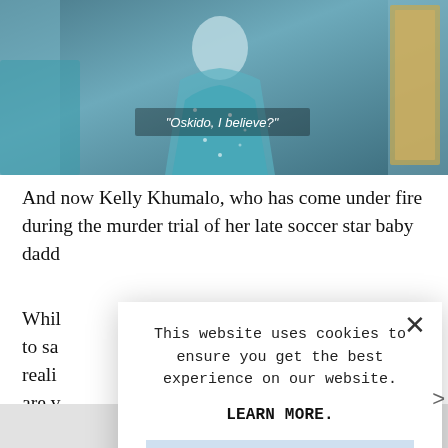[Figure (screenshot): Screenshot of a webpage showing a photo of a person in teal/blue sparkling outfit, with subtitle text 'Oskido, I believe?' overlaid on the image.]
And now Kelly Khumalo, who has come under fire during the murder trial of her late soccer star baby dadd
Whil to sa reali are v untr
Khu punc the d
This website uses cookies to ensure you get the best experience on our website.

LEARN MORE.

ACCEPT COOKIES